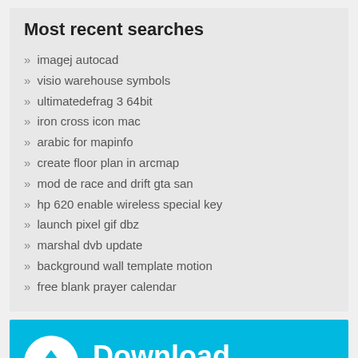Most recent searches
» imagej autocad
» visio warehouse symbols
» ultimatedefrag 3 64bit
» iron cross icon mac
» arabic for mapinfo
» create floor plan in arcmap
» mod de race and drift gta san
» hp 620 enable wireless special key
» launch pixel gif dbz
» marshal dvb update
» background wall template motion
» free blank prayer calendar
[Figure (infographic): Download Software Informer banner with download arrow icon on cyan/blue background]